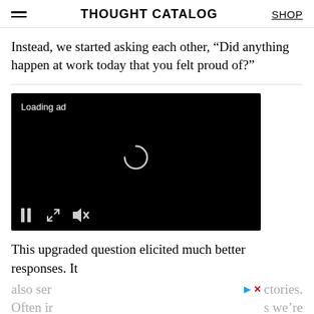THOUGHT CATALOG | SHOP
Instead, we started asking each other, “Did anything happen at work today that you felt proud of?”
[Figure (screenshot): A black video player with 'Loading ad' text in the upper left, a spinning loading circle in the center, and playback controls (pause, expand, mute) at the bottom left.]
This upgraded question elicited much better responses. It also ser ▶ × ctories. Often ir s we’re